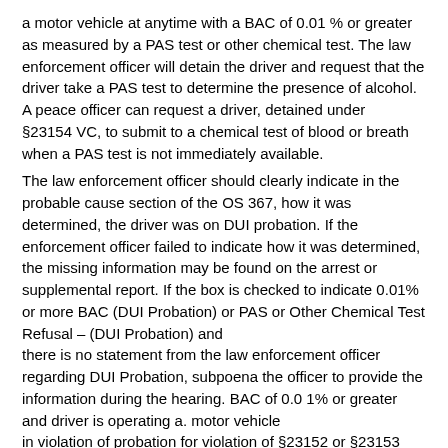a motor vehicle at anytime with a BAC of 0.01 % or greater as measured by a PAS test or other chemical test. The law enforcement officer will detain the driver and request that the driver take a PAS test to determine the presence of alcohol. A peace officer can request a driver, detained under §23154 VC, to submit to a chemical test of blood or breath when a PAS test is not immediately available.
The law enforcement officer should clearly indicate in the probable cause section of the OS 367, how it was determined, the driver was on DUI probation. If the enforcement officer failed to indicate how it was determined, the missing information may be found on the arrest or supplemental report. If the box is checked to indicate 0.01% or more BAC (DUI Probation) or PAS or Other Chemical Test Refusal – (DUI Probation) and there is no statement from the law enforcement officer regarding DUI Probation, subpoena the officer to provide the information during the hearing. BAC of 0.0 1% or greater and driver is operating a. motor vehicle in violation of probation for violation of §23152 or §23153 VC.
The APS DUI Violation of Probation is in addition to any other APS/PAS action imposed due to the same offense when the following applies:
• 21 years of age or older and the BAC level is 0.08% or more, or